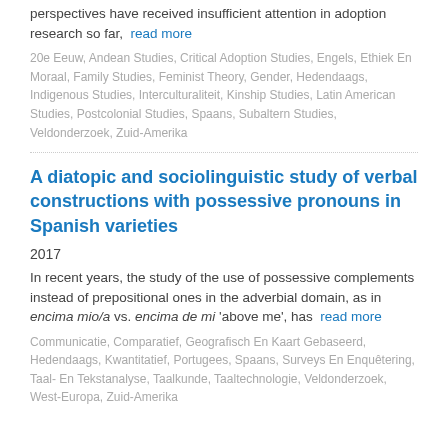perspectives have received insufficient attention in adoption research so far, … read more
20e Eeuw, Andean Studies, Critical Adoption Studies, Engels, Ethiek En Moraal, Family Studies, Feminist Theory, Gender, Hedendaags, Indigenous Studies, Interculturaliteit, Kinship Studies, Latin American Studies, Postcolonial Studies, Spaans, Subaltern Studies, Veldonderzoek, Zuid-Amerika
A diatopic and sociolinguistic study of verbal constructions with possessive pronouns in Spanish varieties
2017
In recent years, the study of the use of possessive complements instead of prepositional ones in the adverbial domain, as in encima mio/a vs. encima de mi 'above me', has … read more
Communicatie, Comparatief, Geografisch En Kaart Gebaseerd, Hedendaags, Kwantitatief, Portugees, Spaans, Surveys En Enquêtering, Taal- En Tekstanalyse, Taalkunde, Taaltechnologie, Veldonderzoek, West-Europa, Zuid-Amerika